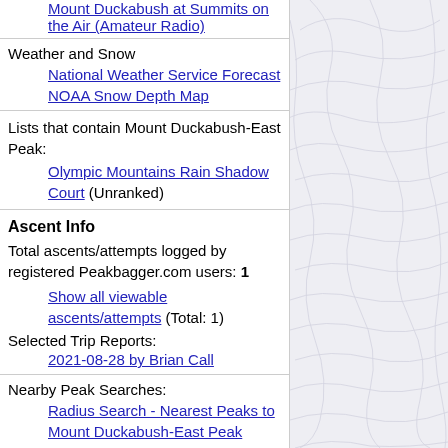Mount Duckabush at Summits on the Air (Amateur Radio)
Weather and Snow
National Weather Service Forecast
NOAA Snow Depth Map
Lists that contain Mount Duckabush-East Peak:
Olympic Mountains Rain Shadow Court (Unranked)
Ascent Info
Total ascents/attempts logged by registered Peakbagger.com users: 1
Show all viewable ascents/attempts (Total: 1)
Selected Trip Reports:
2021-08-28 by Brian Call
Nearby Peak Searches:
Radius Search - Nearest Peaks to Mount Duckabush-East Peak
Elevation Ladder from Mount Duckabush-East Peak
Prominence Ladder from Mount Duckabush-East Peak